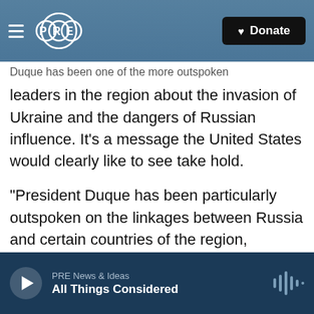PRE — Donate
Duque has been one of the more outspoken leaders in the region about the invasion of Ukraine and the dangers of Russian influence. It's a message the United States would clearly like to see take hold.
"President Duque has been particularly outspoken on the linkages between Russia and certain countries of the region, especially Venezuela," Kevin Whitaker, a former U.S. ambassador to Colombia who also served as a diplomat in Venezuela, told reporters on a briefing call ahead of the meeting.
PRE News & Ideas — All Things Considered